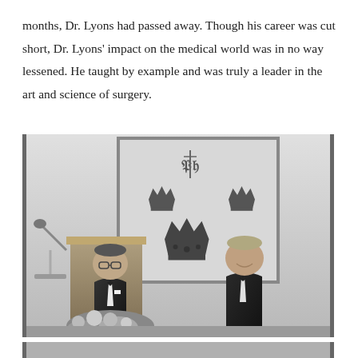months, Dr. Lyons had passed away. Though his career was cut short, Dr. Lyons' impact on the medical world was in no way lessened. He taught by example and was truly a leader in the art and science of surgery.
[Figure (photo): Black and white photograph of two men in tuxedos at a formal event. The man on the left stands at a podium with a microphone. Behind them is a framed display showing crown decorations and the letters 'PH'. Flowers are visible in the foreground.]